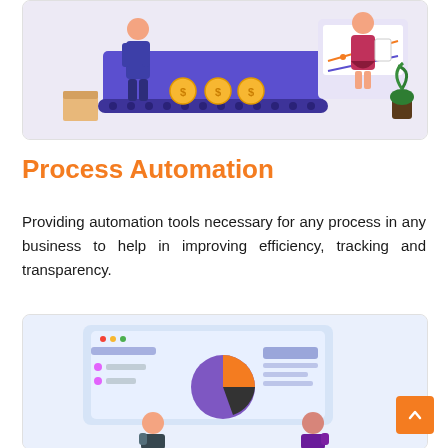[Figure (illustration): Business process automation illustration showing two workers with coins on a conveyor belt machine and a woman reviewing a chart on the wall, purple/blue color scheme with a cardboard box on the left.]
Process Automation
Providing automation tools necessary for any process in any business to help in improving efficiency, tracking and transparency.
[Figure (illustration): Data analytics illustration showing two people sitting in front of a large screen with a pie chart (purple and orange segments), bar chart elements, and chat/list panels. Light blue and purple color scheme.]